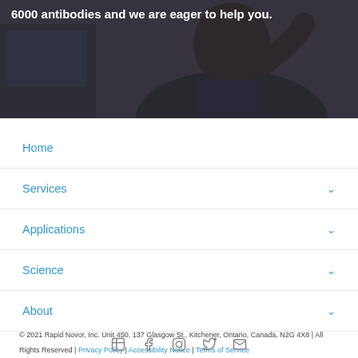[Figure (photo): Banner photo of a person (dark-skinned individual) sitting at a desk with a laptop, wearing a dark t-shirt. The background is dimly lit. Overlaid white bold text reads '6000 antibodies and we are eager to help you.']
6000 antibodies and we are eager to help you.
Home
Services
Applications
Science
About
© 2021 Rapid Novor, Inc. Unit 450, 137 Glasgow St., Kitchener, Ontario, Canada, N2G 4X8 | All Rights Reserved | Privacy Policy | Accessibility Notice | Terms of Service
[Figure (other): Row of social media icons: LinkedIn, Facebook, Instagram, Twitter, Email]